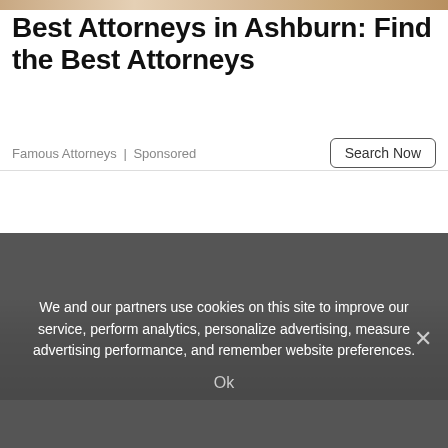[Figure (photo): Partial top image strip with brownish/warm tones, cropped at top of page]
Best Attorneys in Ashburn: Find the Best Attorneys
Famous Attorneys | Sponsored
[Figure (screenshot): Search Now button with rounded border]
[Figure (photo): White content area below divider with dark gradient fading to bottom]
We and our partners use cookies on this site to improve our service, perform analytics, personalize advertising, measure advertising performance, and remember website preferences.
Ok